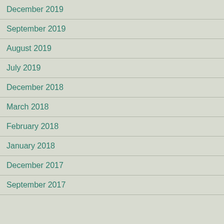December 2019
September 2019
August 2019
July 2019
December 2018
March 2018
February 2018
January 2018
December 2017
September 2017